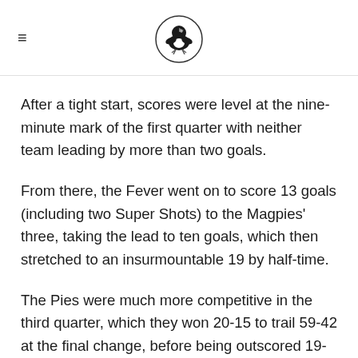[Figure (logo): Collingwood Magpies football club logo — black and white bird emblem]
After a tight start, scores were level at the nine-minute mark of the first quarter with neither team leading by more than two goals.
From there, the Fever went on to score 13 goals (including two Super Shots) to the Magpies' three, taking the lead to ten goals, which then stretched to an insurmountable 19 by half-time.
The Pies were much more competitive in the third quarter, which they won 20-15 to trail 59-42 at the final change, before being outscored 19-10 in the final quarter.